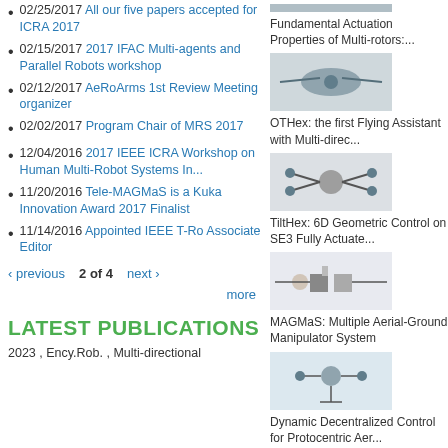02/25/2017 All our five papers accepted for ICRA 2017
02/15/2017 2017 IFAC Multi-agents and Parallel Robots workshop
02/12/2017 AeRoArms 1st Review Meeting organizer
02/02/2017 Program Chair of MRS 2017
12/04/2016 2017 IEEE ICRA Workshop on Human Multi-Robot Systems In...
11/20/2016 Tele-MAGMaS is a Kuka Innovation Award 2017 Finalist
11/14/2016 Appointed IEEE T-Ro Associate Editor
‹ previous  2 of 4  next ›
more
LATEST PUBLICATIONS
2023 , Ency.Rob. , Multi-directional
[Figure (photo): Photo of a multi-rotor UAV]
Fundamental Actuation Properties of Multi-rotors:...
[Figure (photo): Photo of OTHex flying robot]
OTHex: the first Flying Assistant with Multi-direc...
[Figure (photo): Photo of TiltHex robot]
TiltHex: 6D Geometric Control on SE3 Fully Actuate...
[Figure (photo): Photo of MAGMaS aerial-ground system]
MAGMaS: Multiple Aerial-Ground Manipulator System
[Figure (photo): Photo of aerial robot for dynamic decentralized control]
Dynamic Decentralized Control for Protocentric Aer...
[Figure (photo): Photo of LAAS-CNRS robot with manipulator arm]